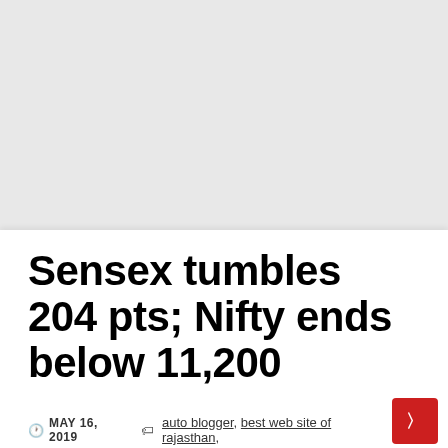Sensex tumbles 204 pts; Nifty ends below 11,200
MAY 16, 2019   auto blogger, best web site of rajasthan,